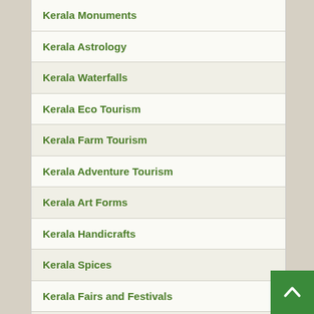Kerala Monuments
Kerala Astrology
Kerala Waterfalls
Kerala Eco Tourism
Kerala Farm Tourism
Kerala Adventure Tourism
Kerala Art Forms
Kerala Handicrafts
Kerala Spices
Kerala Fairs and Festivals
Kerala Parks and Gardens
Kerala Homestays
Kerala Religion
Kerala Culture